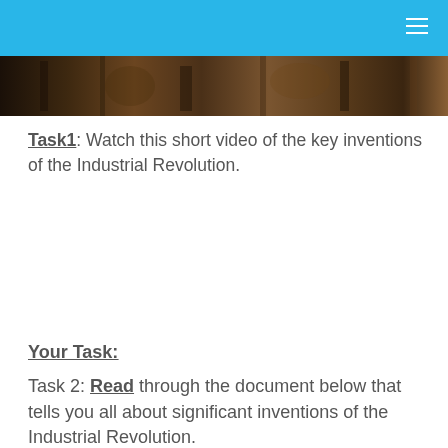[Figure (photo): Dark photograph strip showing industrial machinery or equipment related to the Industrial Revolution]
Task1: Watch this short video of the key inventions of the Industrial Revolution.
Your Task:
Task 2: Read through the document below that tells you all about significant inventions of the Industrial Revolution.